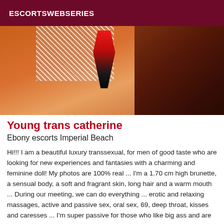ESCORTSWEBSERIES
[Figure (photo): Close-up photo of a person wearing white fishnet stockings and a red high-heel shoe, with an orange/brown leather background.]
Young trans catherine
Ebony escorts Imperial Beach
Hi!!! I am a beautiful luxury transsexual, for men of good taste who are looking for new experiences and fantasies with a charming and feminine doll! My photos are 100% real ... I'm a 1.70 cm high brunette, a sensual body, a soft and fragrant skin, long hair and a warm mouth ... During our meeting, we can do everything ... erotic and relaxing massages, active and passive sex, oral sex, 69, deep throat, kisses and caresses ... I'm super passive for those who like big ass and are very active for men